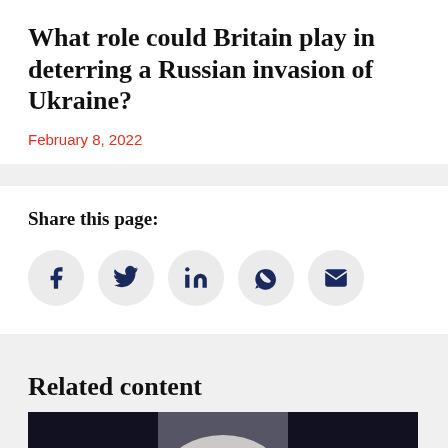What role could Britain play in deterring a Russian invasion of Ukraine?
February 8, 2022
Share this page:
[Figure (infographic): Social media share icons: Facebook, Twitter, LinkedIn, WhatsApp, Email]
Related content
[Figure (photo): Partial photo of a person with light/blonde hair against a dark background]